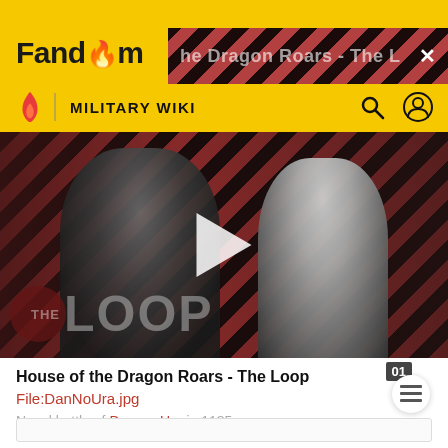[Figure (screenshot): Fandom Military Wiki header with yellow background, Fandom logo, Military Wiki navigation bar with search and user icons]
[Figure (screenshot): Video thumbnail for 'House of the Dragon Roars - The Loop' showing two characters with diagonal red and black stripes background, play button, and THE LOOP watermark]
House of the Dragon Roars - The Loop
File:DanNoUra.jpg
Naval battle of Dan-no-Ura in 1185